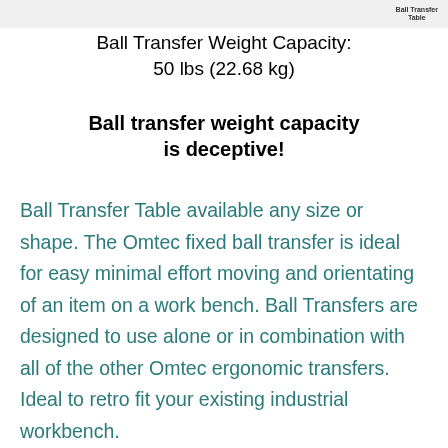[Figure (illustration): Partial image of a Ball Transfer Table at the top of the page with label 'Ball Transfer Table']
Ball Transfer Weight Capacity:
50 lbs (22.68 kg)
Ball transfer weight capacity is deceptive!
Ball Transfer Table available any size or shape. The Omtec fixed ball transfer is ideal for easy minimal effort moving and orientating of an item on a work bench. Ball Transfers are designed to use alone or in combination with all of the other Omtec ergonomic transfers. Ideal to retro fit your existing industrial workbench.